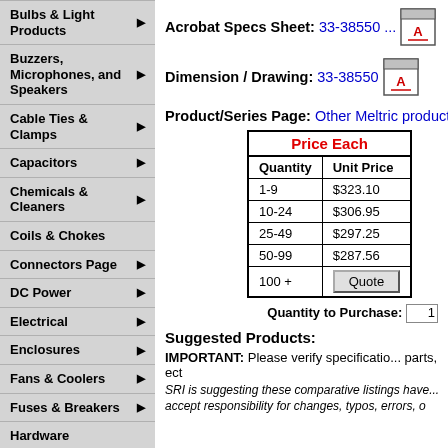Bulbs & Light Products ▶
Buzzers, Microphones, and Speakers ▶
Cable Ties & Clamps ▶
Capacitors ▶
Chemicals & Cleaners ▶
Coils & Chokes
Connectors Page ▶
DC Power ▶
Electrical ▶
Enclosures ▶
Fans & Coolers ▶
Fuses & Breakers ▶
Hardware
Heat Shrink Tubing
Inductors
Acrobat Specs Sheet: 33-38550 ...
Dimension / Drawing: 33-38550
Product/Series Page: Other Meltric products of this
| Quantity | Unit Price |
| --- | --- |
| 1-9 | $323.10 |
| 10-24 | $306.95 |
| 25-49 | $297.25 |
| 50-99 | $287.56 |
| 100 + | Quote |
Quantity to Purchase: 1
Suggested Products:
IMPORTANT: Please verify specificatio... parts, ect
SRI is suggesting these comparative listings have... accept responsibility for changes, typos, errors, o